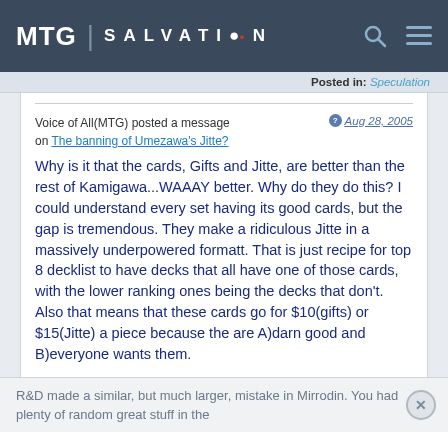MTG SALVATION
Posted in: Speculation
Voice of All(MTG) posted a message on The banning of Umezawa's Jitte?
Aug 28, 2005
Why is it that the cards, Gifts and Jitte, are better than the rest of Kamigawa...WAAAY better. Why do they do this? I could understand every set having its good cards, but the gap is tremendous. They make a ridiculous Jitte in a massively underpowered formatt. That is just recipe for top 8 decklist to have decks that all have one of those cards, with the lower ranking ones being the decks that don't. Also that means that these cards go for $10(gifts) or $15(Jitte) a piece because the are A)darn good and B)everyone wants them.
R&D made a similar, but much larger, mistake in Mirrodin. You had plenty of random great stuff in the